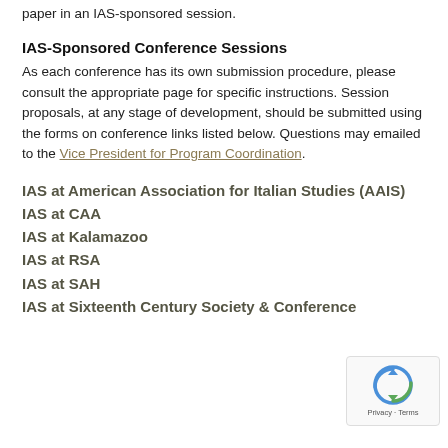paper in an IAS-sponsored session.
IAS-Sponsored Conference Sessions
As each conference has its own submission procedure, please consult the appropriate page for specific instructions. Session proposals, at any stage of development, should be submitted using the forms on conference links listed below. Questions may emailed to the Vice President for Program Coordination.
IAS at American Association for Italian Studies (AAIS)
IAS at CAA
IAS at Kalamazoo
IAS at RSA
IAS at SAH
IAS at Sixteenth Century Society & Conference